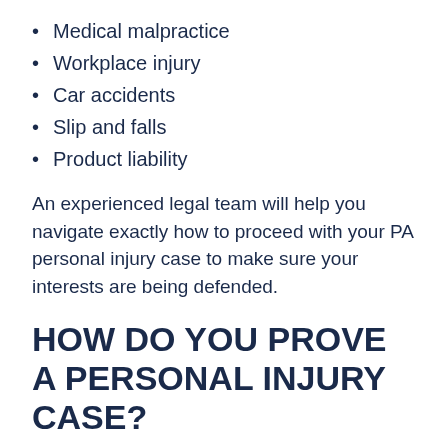Medical malpractice
Workplace injury
Car accidents
Slip and falls
Product liability
An experienced legal team will help you navigate exactly how to proceed with your PA personal injury case to make sure your interests are being defended.
HOW DO YOU PROVE A PERSONAL INJURY CASE?
To prove a personal injury case, you must bring forward evidence that the person